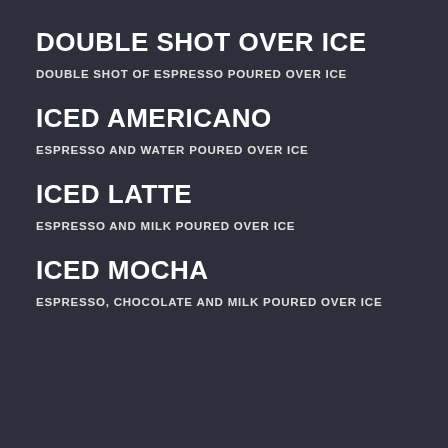DOUBLE SHOT OVER ICE
DOUBLE SHOT OF ESPRESSO POURED OVER ICE
ICED AMERICANO
ESPRESSO AND WATER POURED OVER ICE
ICED LATTE
ESPRESSO AND MILK POURED OVER ICE
ICED MOCHA
ESPRESSO, CHOCOLATE AND MILK POURED OVER ICE